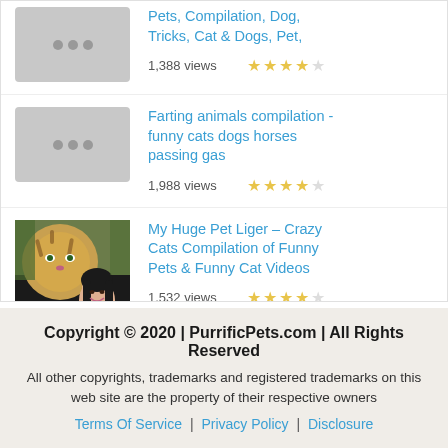Pets, Compilation, Dog, Tricks, Cat & Dogs, Pet,
1,388 views
Farting animals compilation - funny cats dogs horses passing gas
1,988 views
[Figure (photo): Thumbnail of liger and woman]
My Huge Pet Liger - Crazy Cats Compilation of Funny Pets & Funny Cat Videos
1,532 views
Copyright © 2020 | PurrificPets.com | All Rights Reserved
All other copyrights, trademarks and registered trademarks on this web site are the property of their respective owners
Terms Of Service | Privacy Policy | Disclosure